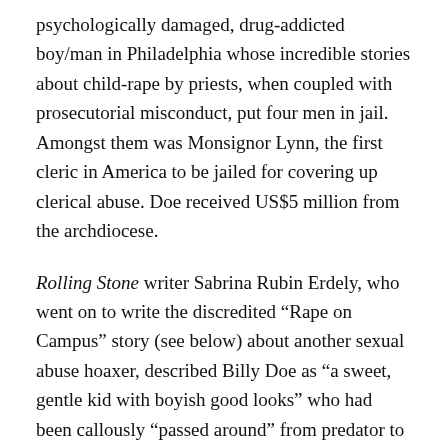psychologically damaged, drug-addicted boy/man in Philadelphia whose incredible stories about child-rape by priests, when coupled with prosecutorial misconduct, put four men in jail. Amongst them was Monsignor Lynn, the first cleric in America to be jailed for covering up clerical abuse. Doe received US$5 million from the archdiocese.
Rolling Stone writer Sabrina Rubin Erdely, who went on to write the discredited “Rape on Campus” story (see below) about another sexual abuse hoaxer, described Billy Doe as “a sweet, gentle kid with boyish good looks” who had been callously “passed around” from predator to predator.
Now just because Billy Doe is a liar, which seems beyond